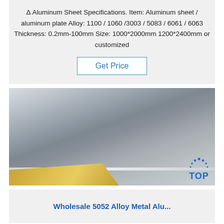Δ Aluminum Sheet Specifications. Item: Aluminum sheet / aluminum plate Alloy: 1100 / 1060 /3003 / 5083 / 6061 / 6063 Thickness: 0.2mm-100mm Size: 1000*2000mm 1200*2400mm or customized
Get Price
[Figure (photo): Photo of aluminum sheet/plate stacked, showing shiny metallic silver surface with gold/yellow packaging material visible at bottom left corner. A 'TOP' logo watermark appears at the bottom right.]
Wholesale 5052 Alloy Metal Alu...